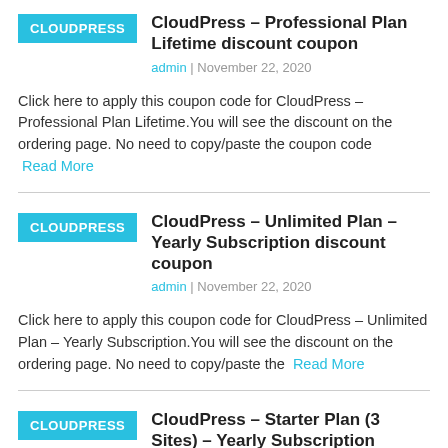[Figure (logo): CloudPress logo box - cyan background with white text CLOUDPRESS]
CloudPress – Professional Plan Lifetime discount coupon
admin  |  November 22, 2020
Click here to apply this coupon code for CloudPress – Professional Plan Lifetime.You will see the discount on the ordering page. No need to copy/paste the coupon code  Read More
[Figure (logo): CloudPress logo box - cyan background with white text CLOUDPRESS]
CloudPress – Unlimited Plan – Yearly Subscription discount coupon
admin  |  November 22, 2020
Click here to apply this coupon code for CloudPress – Unlimited Plan – Yearly Subscription.You will see the discount on the ordering page. No need to copy/paste the  Read More
[Figure (logo): CloudPress logo box - cyan background with white text CLOUDPRESS]
CloudPress – Starter Plan (3 Sites) – Yearly Subscription discount coupon
admin  |  November 22, 2020